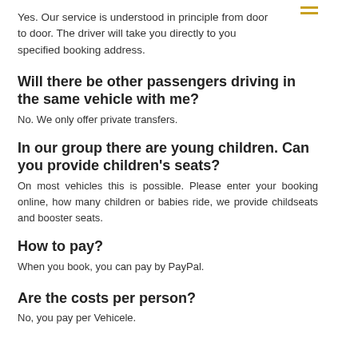Yes. Our service is understood in principle from door to door. The driver will take you directly to you specified booking address.
Will there be other passengers driving in the same vehicle with me?
No. We only offer private transfers.
In our group there are young children. Can you provide children's seats?
On most vehicles this is possible. Please enter your booking online, how many children or babies ride, we provide childseats and booster seats.
How to pay?
When you book, you can pay by PayPal.
Are the costs per person?
No, you pay per Vehicele.